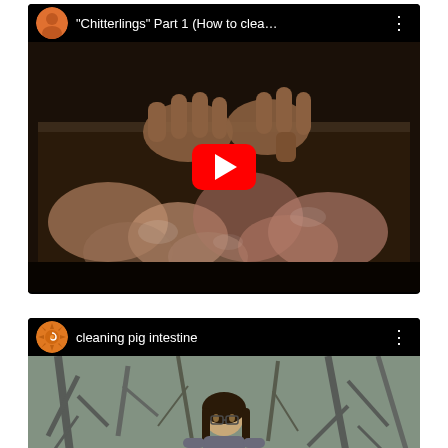[Figure (screenshot): YouTube video thumbnail for 'Chitterlings' Part 1 (How to clea... showing hands cleaning chitterlings in a metal pan with a red YouTube play button overlay]
[Figure (screenshot): YouTube video thumbnail for 'cleaning pig intestine' showing a person outdoors among bare trees, with an orange sun spiral logo avatar]